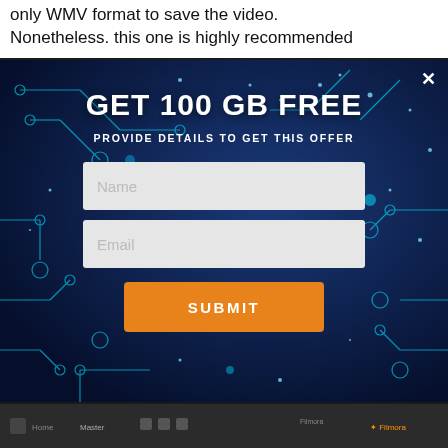only WMV format to save the video. Nonetheless. this one is highly recommended
[Figure (screenshot): A popup modal with a dark blue circuit board background. Contains heading 'GET 100 GB FREE', subheading 'PROVIDE DETAILS TO GET THIS OFFER', two input fields (Name, Email), and an orange SUBMIT button. A close (X) button is in the top right corner.]
[Figure (screenshot): Dark bottom toolbar area of a software application]